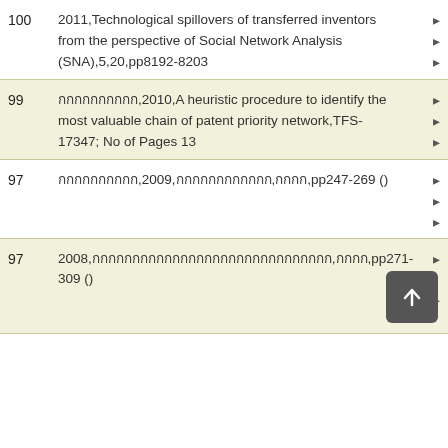100  2011,Technological spillovers of transferred inventors from the perspective of Social Network Analysis (SNA),5,20,pp8192-8203
99  กกกกกกกกกก,2010,A heuristic procedure to identify the most valuable chain of patent priority network,TFS-17347; No of Pages 13
97  กกกกกกกกกก,2009,กกกกกกกกกกกก,กกกก,pp247-269 ()
97  2008,กกกกกกกกกกกกกกกกกกกกกกกกกกกกกก,กกกก,pp271-309 ()